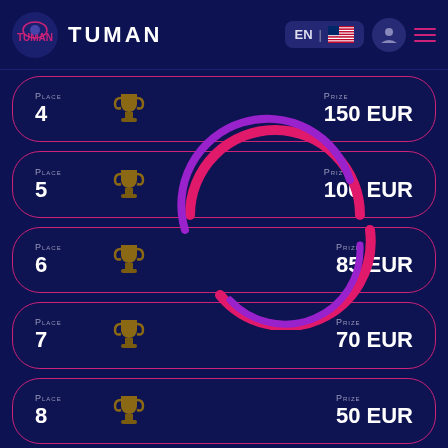[Figure (screenshot): Navigation bar with TUMAN logo, EN language selector with US flag, avatar icon and menu icon]
| Place | Prize |
| --- | --- |
| 4 | 150 EUR |
| 5 | 100 EUR |
| 6 | 85 EUR |
| 7 | 70 EUR |
| 8 | 50 EUR |
[Figure (infographic): Circular loading spinner with pink and purple arc stripes overlaid on the prize list rows]